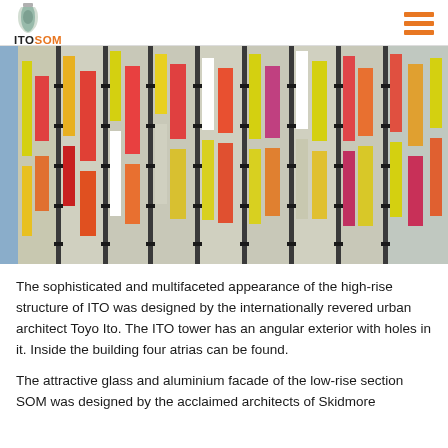ITOSOM
[Figure (photo): Close-up photograph of a colorful glass and metal building facade with vertical panels in yellow, orange, red, pink, and white colors, arranged in a modern high-rise curtain wall pattern with horizontal metal clips.]
The sophisticated and multifaceted appearance of the high-rise structure of ITO was designed by the internationally revered urban architect Toyo Ito. The ITO tower has an angular exterior with holes in it. Inside the building four atrias can be found.
The attractive glass and aluminium facade of the low-rise section SOM was designed by the acclaimed architects of Skidmore